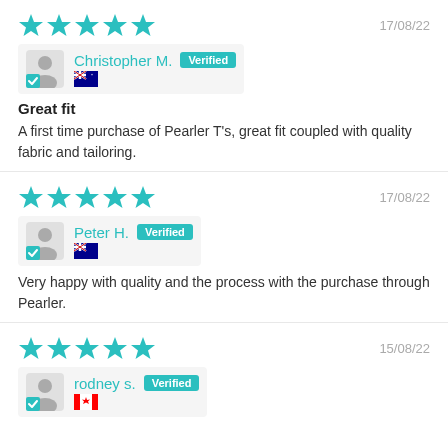[Figure (other): 5 teal star rating, date 17/08/22, reviewer Christopher M. Verified badge, Australian flag, review title Great fit, review text: A first time purchase of Pearler T's, great fit coupled with quality fabric and tailoring.]
[Figure (other): 5 teal star rating, date 17/08/22, reviewer Peter H. Verified badge, Australian flag, review text: Very happy with quality and the process with the purchase through Pearler.]
[Figure (other): 5 teal star rating, date 15/08/22, reviewer rodney s. Verified badge, Canadian flag]